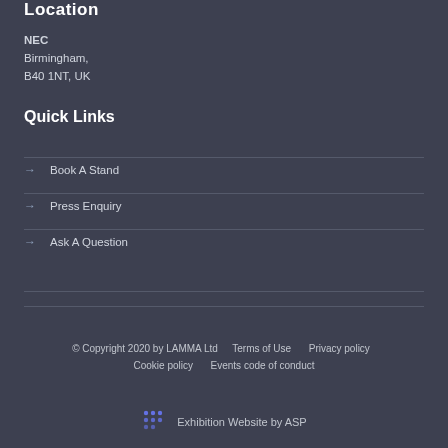Location
NEC
Birmingham,
B40 1NT, UK
Quick Links
Book A Stand
Press Enquiry
Ask A Question
© Copyright 2020 by LAMMA Ltd   Terms of Use   Privacy policy   Cookie policy   Events code of conduct
Exhibition Website by ASP